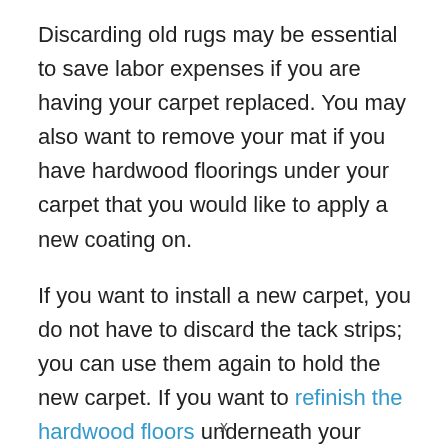Discarding old rugs may be essential to save labor expenses if you are having your carpet replaced. You may also want to remove your mat if you have hardwood floorings under your carpet that you would like to apply a new coating on.
If you want to install a new carpet, you do not have to discard the tack strips; you can use them again to hold the new carpet. If you want to refinish the hardwood floors underneath your carpet or intend to tile the surface, you have to remove the tack
x